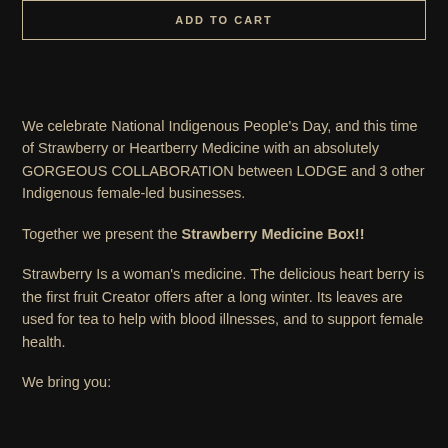[Figure (other): ADD TO CART button outlined with a border, text in uppercase spaced letters]
We celebrate National Indigenous People's Day, and this time of Strawberry or Heartberry Medicine with an absolutely GORGEOUS COLLABORATION between LODGE and 3 other Indigenous female-led businesses.
Together we present the Strawberry Medicine Box!!
Strawberry Is a woman's medicine. The delicious heart berry is the first fruit Creator offers after a long winter. Its leaves are used for tea to help with blood illnesses, and to support female health.
We bring you: